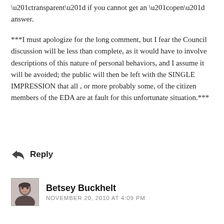“transparent” if you cannot get an “open” answer.
***I must apologize for the long comment, but I fear the Council discussion will be less than complete, as it would have to involve descriptions of this nature of personal behaviors, and I assume it will be avoided; the public will then be left with the SINGLE IMPRESSION that all , or more probably some, of the citizen members of the EDA are at fault for this unfortunate situation.***
← Reply
Betsey Buckhelt
NOVEMBER 20, 2010 AT 4:09 PM